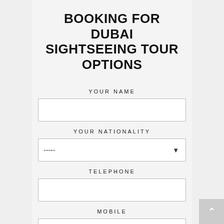BOOKING FOR DUBAI SIGHTSEEING TOUR OPTIONS
YOUR NAME
YOUR NATIONALITY
TELEPHONE
MOBILE